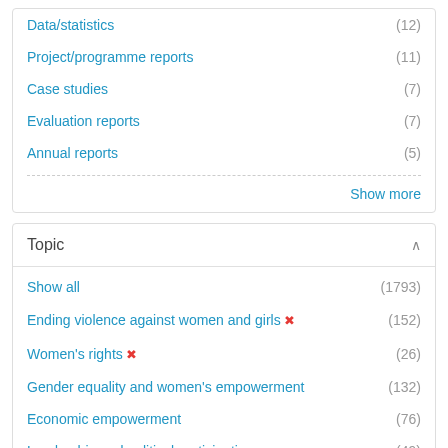Data/statistics (12)
Project/programme reports (11)
Case studies (7)
Evaluation reports (7)
Annual reports (5)
Show more
Topic
Show all (1793)
Ending violence against women and girls [x] (152)
Women's rights [x] (26)
Gender equality and women's empowerment (132)
Economic empowerment (76)
Leadership and political participation (49)
Peace and security (48)
COVID-19 (45)
Gender equality and inequality (40)